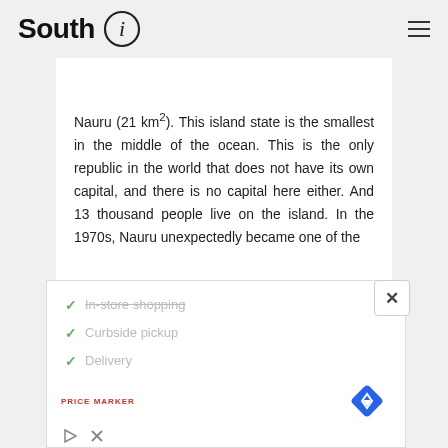South i
Nauru (21 km²). This island state is the smallest in the middle of the ocean. This is the only republic in the world that does not have its own capital, and there is no capital here either. And 13 thousand people live on the island. In the 1970s, Nauru unexpectedly became one of the
[Figure (infographic): Advertisement overlay with checkmarks listing: In-store shopping (struck through), Curbside pickup, Delivery. Includes a Price Marker logo, a blue diamond navigation icon, and ad controls (play and close buttons).]